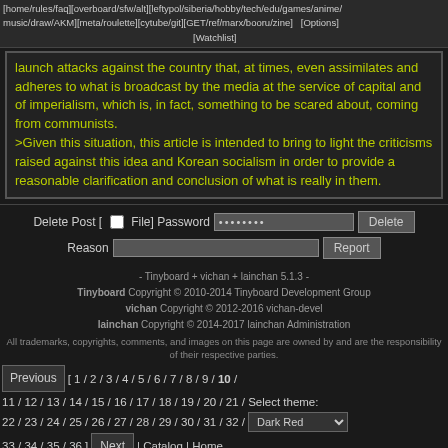[home/rules/faq][overboard/sfw/alt][leftypol/siberia/hobby/tech/edu/games/anime/music/draw/AKM][meta/roulette][cytube/git][GET/ref/marx/booru/zine]  [Options][Watchlist]
launch attacks against the country that, at times, even assimilates and adheres to what is broadcast by the media at the service of capital and of imperialism, which is, in fact, something to be scared about, coming from communists.
>Given this situation, this article is intended to bring to light the criticisms raised against this idea and Korean socialism in order to provide a reasonable clarification and conclusion of what is really in them.
Delete Post [ ☐ File] Password ••••••••• [Delete]
Reason [_____________________] [Report]
- Tinyboard + vichan + lainchan 5.1.3 -
Tinyboard Copyright © 2010-2014 Tinyboard Development Group
vichan Copyright © 2012-2016 vichan-devel
lainchan Copyright © 2014-2017 lainchan Administration
All trademarks, copyrights, comments, and images on this page are owned by and are the responsibility of their respective parties.
Previous [1/2/3/4/5/6/7/8/9/10/11/12/13/14/15/16/17/18/19/20/21/Select theme: 22/23/24/25/26/27/28/29/30/31/32/ Dark Red ▼
33/34/35/36] Next | Catalog | Home